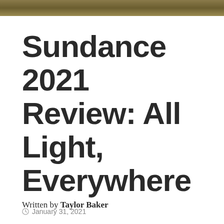[Figure (photo): Dark golden/brown textured image strip at the top of the page]
Sundance 2021 Review: All Light, Everywhere
January 31, 2021
Written by Taylor Baker